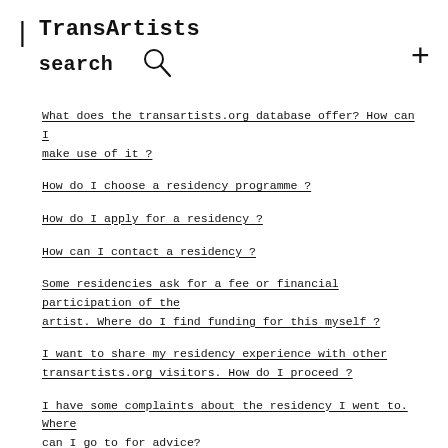| TransArtists search
What does the transartists.org database offer? How can I make use of it?
How do I choose a residency programme?
How do I apply for a residency?
How can I contact a residency?
Some residencies ask for a fee or financial participation of the artist. Where do I find funding for this myself?
I want to share my residency experience with other transartists.org visitors. How do I proceed?
I have some complaints about the residency I went to. Where can I go to for advice?
Residency hosts